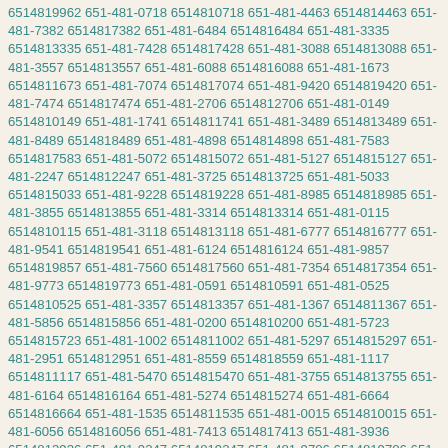6514819962 651-481-0718 6514810718 651-481-4463 6514814463 651-481-7382 6514817382 651-481-6484 6514816484 651-481-3335 6514813335 651-481-7428 6514817428 651-481-3088 6514813088 651-481-3557 6514813557 651-481-6088 6514816088 651-481-1673 6514811673 651-481-7074 6514817074 651-481-9420 6514819420 651-481-7474 6514817474 651-481-2706 6514812706 651-481-0149 6514810149 651-481-1741 6514811741 651-481-3489 6514813489 651-481-8489 6514818489 651-481-4898 6514814898 651-481-7583 6514817583 651-481-5072 6514815072 651-481-5127 6514815127 651-481-2247 6514812247 651-481-3725 6514813725 651-481-5033 6514815033 651-481-9228 6514819228 651-481-8985 6514818985 651-481-3855 6514813855 651-481-3314 6514813314 651-481-0115 6514810115 651-481-3118 6514813118 651-481-6777 6514816777 651-481-9541 6514819541 651-481-6124 6514816124 651-481-9857 6514819857 651-481-7560 6514817560 651-481-7354 6514817354 651-481-9773 6514819773 651-481-0591 6514810591 651-481-0525 6514810525 651-481-3357 6514813357 651-481-1367 6514811367 651-481-5856 6514815856 651-481-0200 6514810200 651-481-5723 6514815723 651-481-1002 6514811002 651-481-5297 6514815297 651-481-2951 6514812951 651-481-8559 6514818559 651-481-1117 6514811117 651-481-5470 6514815470 651-481-3755 6514813755 651-481-6164 6514816164 651-481-5274 6514815274 651-481-6664 6514816664 651-481-1535 6514811535 651-481-0015 6514810015 651-481-6056 6514816056 651-481-7413 6514817413 651-481-3936 6514813936 651-481-9247 6514819247 651-481-9706 6514819706 651-481-3085 6514813085 651-481-9677 6514819677 651-481-8395 6514818395 651-481-1924 6514811924 651-481-4791 6514814791 651-